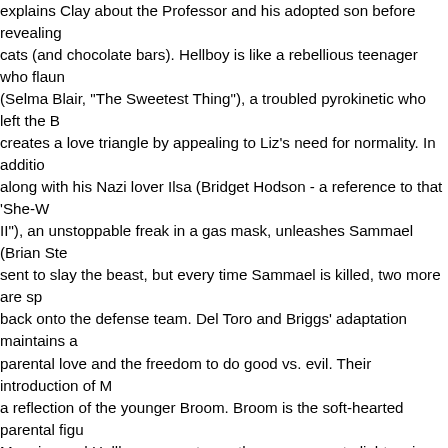explains Clay about the Professor and his adopted son before revealing cats (and chocolate bars). Hellboy is like a rebellious teenager who flaun (Selma Blair, "The Sweetest Thing"), a troubled pyrokinetic who left the B creates a love triangle by appealing to Liz's need for normality. In additio along with his Nazi lover Ilsa (Bridget Hodson - a reference to that 'She-W II"), an unstoppable freak in a gas mask, unleashes Sammael (Brian Ste sent to slay the beast, but every time Sammael is killed, two more are sp back onto the defense team. Del Toro and Briggs' adaptation maintains a parental love and the freedom to do good vs. evil. Their introduction of M a reflection of the younger Broom. Broom is the soft-hearted parental figu Manning and Hellboy connect over the proper way to light a cigar is one opportunity to develop Manning's character as he assumes a mantle. We should be given more weight in the sequel (perhaps to make up for the lo the big red one). If only Del Toro had spent more time developing his bad creepy), but Rasputin is bland and Ilsa just window dressing. Perlman is tenderness from beneath pounds of makeup prosthetics. Selma Blair has X-Men's Rogue and Storm with the romantic problems of Jean Grey. Rup feelings for two people he cares for. Hurt has been missing from the i